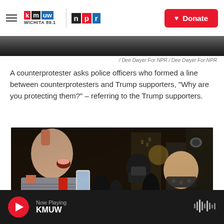KMUW WICHITA 89.1 | NPR | Donate
[Figure (photo): Partial image strip at top of page, dark tones]
/ Dee Dwyer For NPR / Dee Dwyer For NPR
A counterprotester asks police officers who formed a line between counterprotesters and Trump supporters, "Why are you protecting them?" – referring to the Trump supporters.
[Figure (photo): Nighttime street protest scene: a man with a shaved mohawk yelling, holding a phone, facing masked counterprotesters in the background. Dark urban setting with street lights.]
Now Playing KMUW